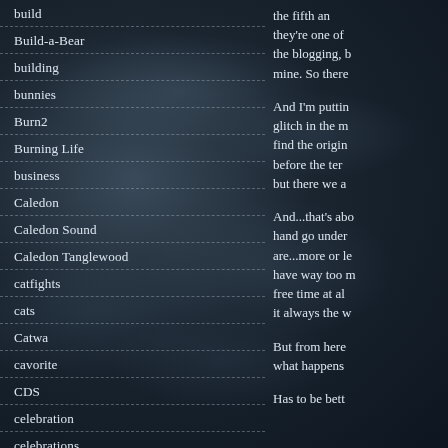build
Build-a-Bear
building
bunnies
Burn2
Burning Life
business
Caledon
Caledon Sound
Caledon Tanglewood
catfights
cats
Catwa
cavorite
CDS
celebration
celebrations
celestialpunk
the fifth an they're one of the blogging, b mine. So there
And I'm puttin glitch in the m find the origin before the ter but there we a
And...that's abo hand go under are...more or l have way too m free time at al it always the w
But from here what happens
Has to be bett